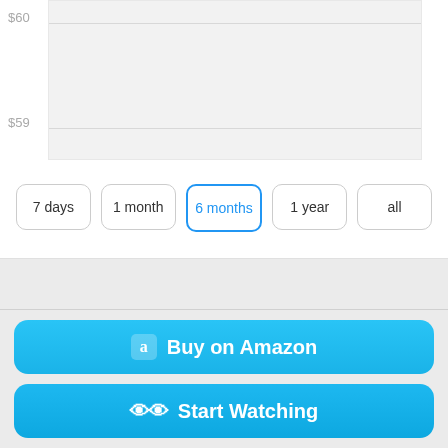[Figure (continuous-plot): Price history chart showing a flat line near $59, with y-axis labels $60 and $59, and horizontal gridlines on a light gray background. The chart area is cropped at the top.]
7 days
1 month
6 months
1 year
all
Buy on Amazon
Start Watching